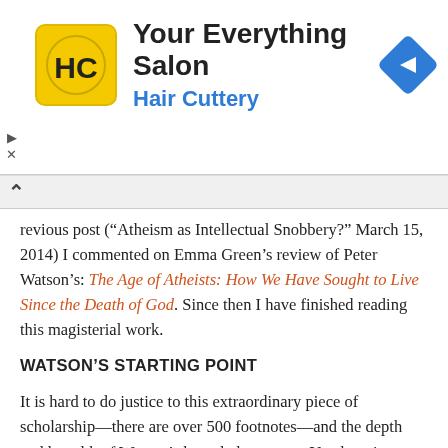[Figure (logo): Hair Cuttery advertisement banner with yellow HC logo, text 'Your Everything Salon' and 'Hair Cuttery', and a blue diamond-shaped navigation arrow icon]
previous post (“Atheism as Intellectual Snobbery?” March 15, 2014) I commented on Emma Green’s review of Peter Watson’s: The Age of Atheists: How We Have Sought to Live Since the Death of God. Since then I have finished reading this magisterial work.
WATSON’S STARTING POINT
It is hard to do justice to this extraordinary piece of scholarship—there are over 500 footnotes—and the depth and breadth of Watson’s knowledge amaze. Yet there is no snobbishness in it. I’d guess that Green can’t relate to atheism or the death of god. Like some of my undergraduates who took my course in existentialism years ago, she doesn’t get what all the fuss is about. Why does